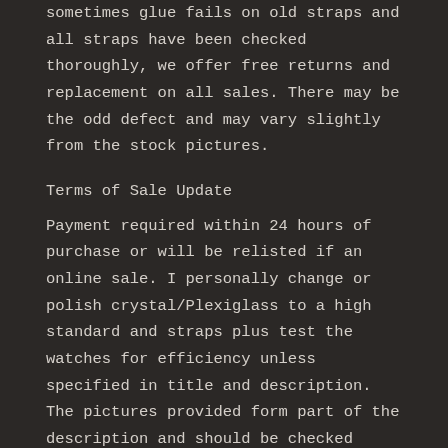sometimes glue fails on old straps and all straps have been checked thoroughly, we offer free returns and replacement on all sales. There may be the odd defect and may vary slightly from the stock pictures.
Terms of Sale Update
Payment required within 24 hours of purchase or will be relisted if an online sale. I personally change or polish crystal/Plexiglass to a high standard and straps plus test the watches for efficiency unless specified in title and description. The pictures provided form part of the description and should be checked thoroughly. I do not service the watches, only refurbish unless specified in title/description. I am happy to discuss work done on watches and every effort is taken to keep the watch completely original. If I have changed something I will detail it in